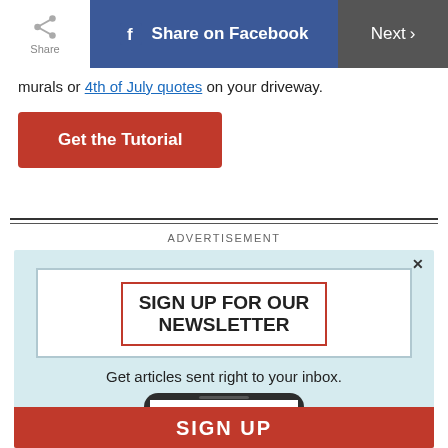Share | Share on Facebook | Next
murals or 4th of July quotes on your driveway.
Get the Tutorial
ADVERTISEMENT
[Figure (screenshot): Newsletter sign-up advertisement: 'SIGN UP FOR OUR NEWSLETTER - Get articles sent right to your inbox.' with Reader's Digest branding on a phone mockup and a red SIGN UP button at the bottom.]